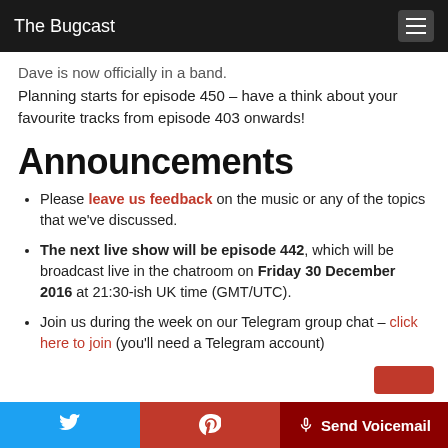The Bugcast
Dave is now officially in a band.
Planning starts for episode 450 – have a think about your favourite tracks from episode 403 onwards!
Announcements
Please leave us feedback on the music or any of the topics that we've discussed.
The next live show will be episode 442, which will be broadcast live in the chatroom on Friday 30 December 2016 at 21:30-ish UK time (GMT/UTC).
Join us during the week on our Telegram group chat – click here to join (you'll need a Telegram account)